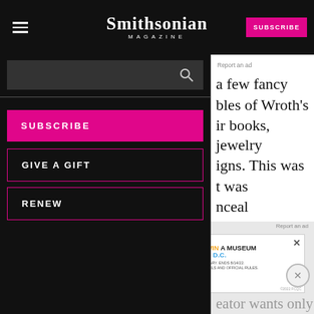Smithsonian MAGAZINE
SUBSCRIBE
GIVE A GIFT
RENEW
a few fancy
bles of Wroth's
ir books, jewelry
igns. This was
t was
nceal meanings
[Figure (screenshot): Quaker Museum Day advertisement: YOU COULD WIN A MUSEUM FIELD TRIP TO D.C. LEARN MORE]
ess
nd
eator wants only